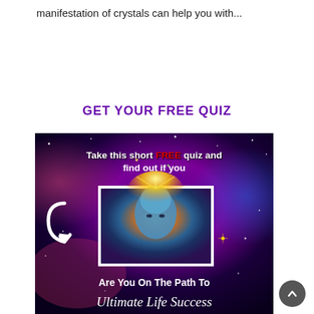manifestation of crystals can help you with...
GET YOUR FREE QUIZ
[Figure (illustration): Promotional quiz banner with a cosmic/galaxy background (purple, magenta, deep blue nebula), text reading 'Take this short FREE quiz and find out if you', a central framed image of a glowing human face with psychedelic/mystical radiant energy, a white arrow icon, and bottom text 'Are You On The Path To Ultimate Life Success' in bold and italic script.]